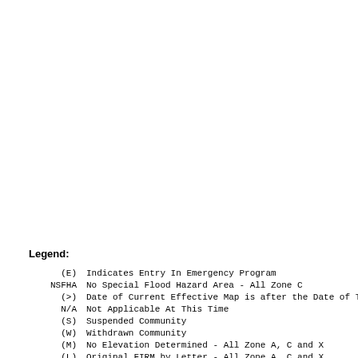Legend:
(E)    Indicates Entry In Emergency Program
NSFHA  No Special Flood Hazard Area - All Zone C
(>)    Date of Current Effective Map is after the Date of This Report
N/A    Not Applicable At This Time
(S)    Suspended Community
(W)    Withdrawn Community
(M)    No Elevation Determined - All Zone A, C and X
(L)    Original FIRM by Letter - All Zone A, C and X